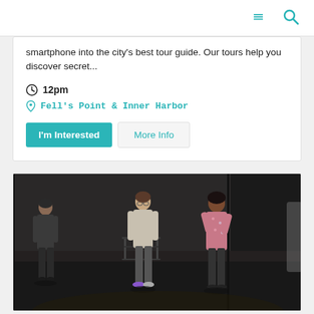Navigation header with menu and search icons
smartphone into the city's best tour guide. Our tours help you discover secret...
12pm
Fell's Point & Inner Harbor
I'm Interested
More Info
[Figure (photo): Three women standing on a dark stage, with folding chairs visible in the background. The scene appears to be a theater rehearsal or performance.]